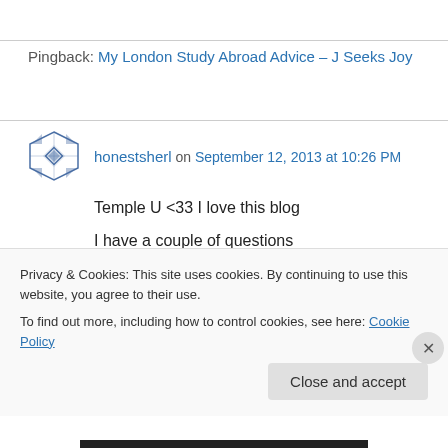Pingback: My London Study Abroad Advice – J Seeks Joy
honestsherl on September 12, 2013 at 10:26 PM
Temple U <33 I love this blog
I have a couple of questions
1. how was the schooling over there
2. how long did it take you to get to Paris from London
3. how did america or london give you the best...
Privacy & Cookies: This site uses cookies. By continuing to use this website, you agree to their use.
To find out more, including how to control cookies, see here: Cookie Policy
Close and accept